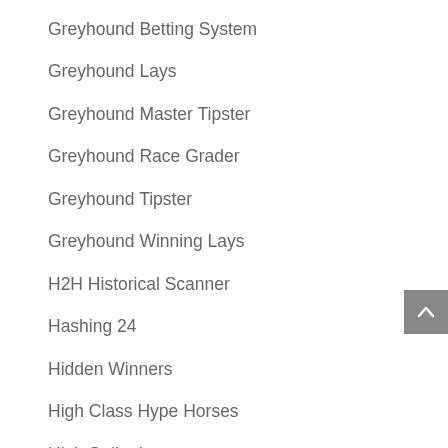Greyhound Betting System
Greyhound Lays
Greyhound Master Tipster
Greyhound Race Grader
Greyhound Tipster
Greyhound Winning Lays
H2H Historical Scanner
Hashing 24
Hidden Winners
High Class Hype Horses
High Strike Lays
Honest Forex Signals
Horse Betting Analyst
Horse Laying Professionals